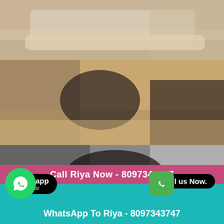[Figure (photo): Top photo showing a person on a couch/sofa, partial view]
[Figure (photo): Middle photo showing a woman in black lingerie and stockings on a wooden floor]
[Figure (photo): Bottom photo showing a woman in black outfit on a silver tufted chair]
Call Riya Now - 8097343747
Whatsapp
click to chat
Call us Now.
WhatsApp To Riya - 8097343747